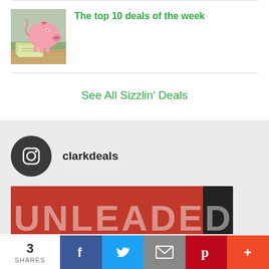[Figure (photo): Piggy bank with cash/money on a wooden surface]
The top 10 deals of the week
See All Sizzlin' Deals
[Figure (logo): Instagram icon (dark circle with camera outline)]
clarkdeals
[Figure (photo): Partial photo showing UNLEADED text on a red/dark background]
3 SHARES  f  (Twitter bird)  (envelope)  (Pinterest P)  +